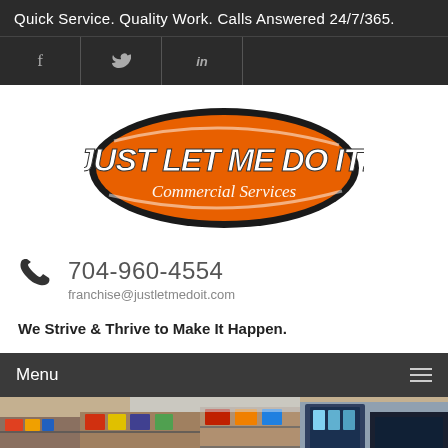Quick Service. Quality Work. Calls Answered 24/7/365.
[Figure (other): Social media icons: Facebook (f), Twitter (bird), LinkedIn (in) in a dark header bar with vertical dividers]
[Figure (logo): Just Let Me Do It! Commercial Services logo — orange and black oval badge with bold italic text]
704-960-4554
franchise@justletmedoit.com
We Strive & Thrive to Make It Happen.
Menu
[Figure (photo): Interior photo of a convenience store / commercial space with shelves of products]